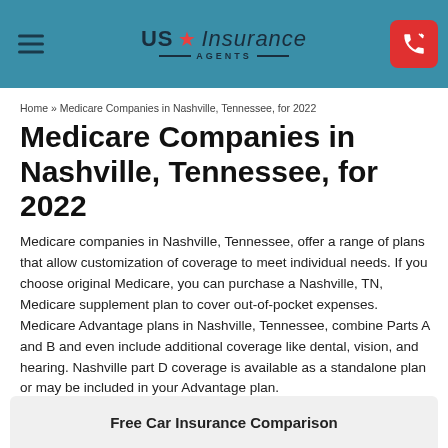US Insurance Agents
Home » Medicare Companies in Nashville, Tennessee, for 2022
Medicare Companies in Nashville, Tennessee, for 2022
Medicare companies in Nashville, Tennessee, offer a range of plans that allow customization of coverage to meet individual needs. If you choose original Medicare, you can purchase a Nashville, TN, Medicare supplement plan to cover out-of-pocket expenses. Medicare Advantage plans in Nashville, Tennessee, combine Parts A and B and even include additional coverage like dental, vision, and hearing. Nashville part D coverage is available as a standalone plan or may be included in your Advantage plan.
Free Car Insurance Comparison